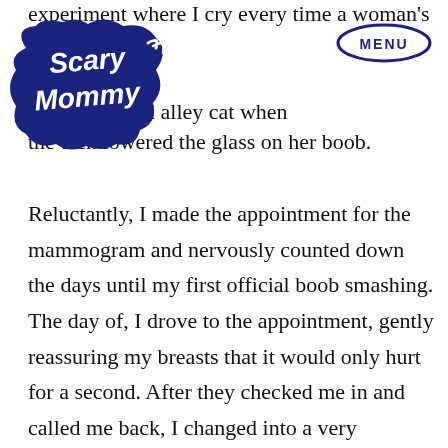[Figure (logo): Scary Mommy logo — white handwritten-style text on dark navy cloud/blob shape]
[Figure (other): MENU button — navy oval border with MENU text in bold navy caps]
experiment where I cry every time a woman's tit distinctly remember my m like an injured alley cat when the tech lowered the glass on her boob.
Reluctantly, I made the appointment for the mammogram and nervously counted down the days until my first official boob smashing. The day of, I drove to the appointment, gently reassuring my breasts that it would only hurt for a second. After they checked me in and called me back, I changed into a very fashionable smock that reminded of the famous JLo Grammy dress that was cut down to her damn navel… except in my hospital version, it